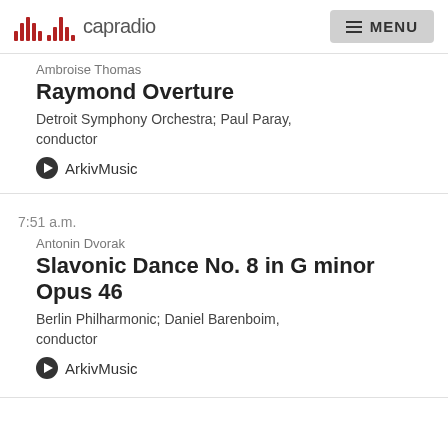capradio MENU
Ambroise Thomas
Raymond Overture
Detroit Symphony Orchestra; Paul Paray, conductor
ArkivMusic
7:51 a.m.
Antonin Dvorak
Slavonic Dance No. 8 in G minor Opus 46
Berlin Philharmonic; Daniel Barenboim, conductor
ArkivMusic